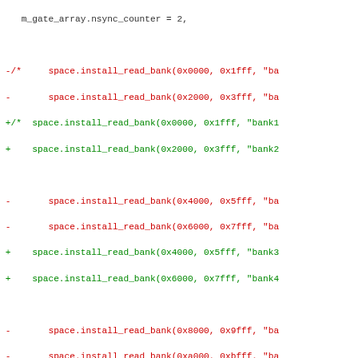Code diff showing space.install_read_bank and space.install_write_bank changes with removed lines (red, prefixed -) and added lines (green, prefixed +)